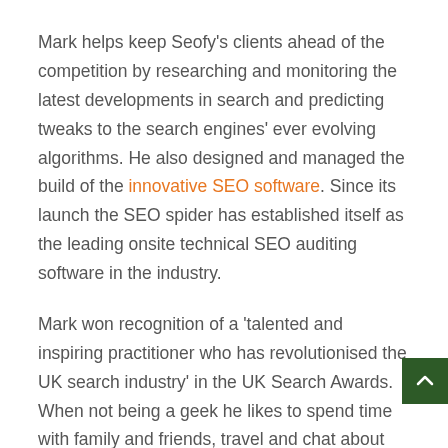Mark helps keep Seofy's clients ahead of the competition by researching and monitoring the latest developments in search and predicting tweaks to the search engines' ever evolving algorithms. He also designed and managed the build of the innovative SEO software. Since its launch the SEO spider has established itself as the leading onsite technical SEO auditing software in the industry.
Mark won recognition of a 'talented and inspiring practitioner who has revolutionised the UK search industry' in the UK Search Awards. When not being a geek he likes to spend time with family and friends, travel and chat about football to everyone who cares to listen – which is nobody at Seofy.